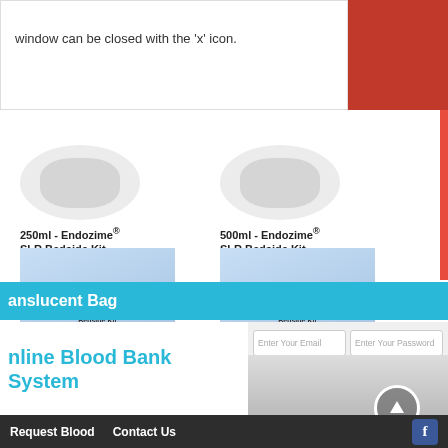window can be closed with the 'x' icon.
250ml - Endozime® SLR Bedside Kit
Product Details
500ml - Endozime® SLR Bedside Kit
Product Details
[Figure (photo): CleanStart Bedside Kit product image - 250mL blue package]
[Figure (photo): CleanStart Bedside Kit product image - 500mL blue package]
250mL - Scope Valet™
500mL - Scope Valet™
anslucent Bag
nline Blood Bank System
Enter Your Email
Enter Your Password
Registration Now
BECOME A PART OF A LARGE BLO
Request Blood   Contact Us